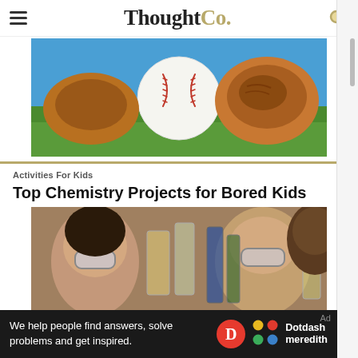ThoughtCo.
[Figure (photo): Baseball and baseball glove on grass with blue sky background]
Activities For Kids
Top Chemistry Projects for Bored Kids
[Figure (photo): Children wearing safety goggles looking at beakers with colored liquids in a chemistry lab setting]
We help people find answers, solve problems and get inspired.
[Figure (logo): Dotdash Meredith logo with D circle and colorful dots icon]